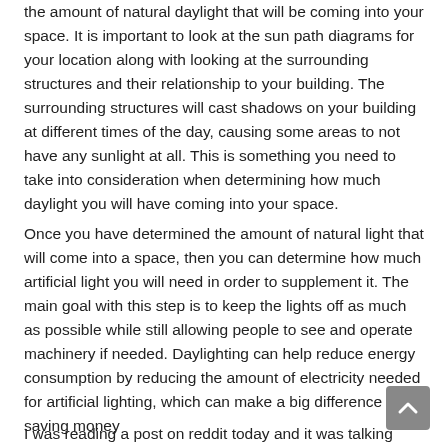the amount of natural daylight that will be coming into your space. It is important to look at the sun path diagrams for your location along with looking at the surrounding structures and their relationship to your building. The surrounding structures will cast shadows on your building at different times of the day, causing some areas to not have any sunlight at all. This is something you need to take into consideration when determining how much daylight you will have coming into your space.
Once you have determined the amount of natural light that will come into a space, then you can determine how much artificial light you will need in order to supplement it. The main goal with this step is to keep the lights off as much as possible while still allowing people to see and operate machinery if needed. Daylighting can help reduce energy consumption by reducing the amount of electricity needed for artificial lighting, which can make a big difference in saving money
I was reading a post on reddit today and it was talking about how